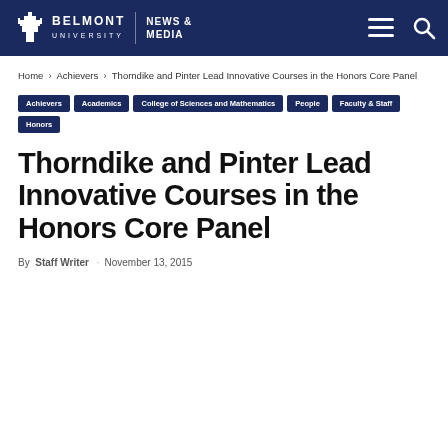Belmont University News & Media
Home › Achievers › Thorndike and Pinter Lead Innovative Courses in the Honors Core Panel
Achievers
Academics
College of Sciences and Mathematics
People
Faculty & Staff
Honors
Thorndike and Pinter Lead Innovative Courses in the Honors Core Panel
By Staff Writer · November 13, 2015